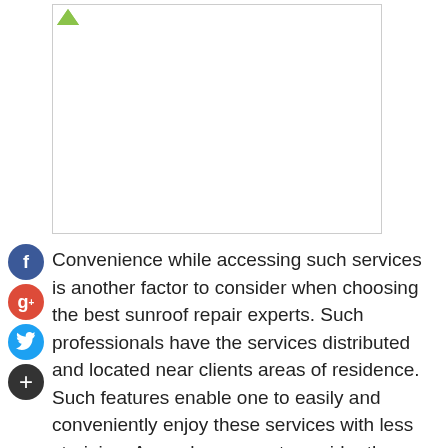[Figure (photo): Image placeholder with white background and border, showing a small green triangle icon in top-left corner]
Convenience while accessing such services is another factor to consider when choosing the best sunroof repair experts. Such professionals have the services distributed and located near clients areas of residence. Such features enable one to easily and conveniently enjoy these services with less straining. As such one must consider the location and availability of such professional before seeking their